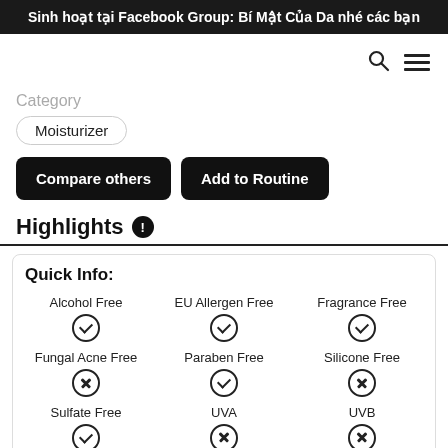Sinh hoạt tại Facebook Group: Bí Mật Của Da nhé các bạn
Category
Moisturizer
Compare others
Add to Routine
Highlights
| Attribute | Status |
| --- | --- |
| Alcohol Free | ✓ |
| EU Allergen Free | ✓ |
| Fragrance Free | ✓ |
| Fungal Acne Free | ✗ |
| Paraben Free | ✓ |
| Silicone Free | ✗ |
| Sulfate Free | ✓ |
| UVA | ✗ |
| UVB | ✗ |